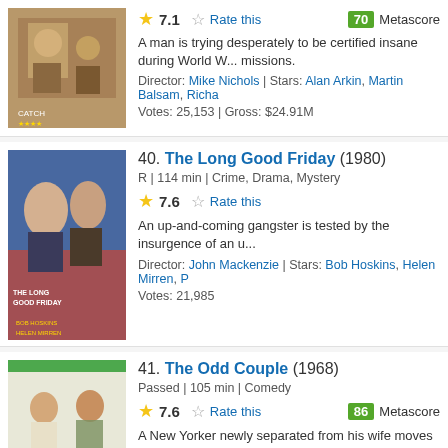[Figure (photo): Movie poster for Catch-22 (partial, top of page)]
7.1  Rate this  70 Metascore
A man is trying desperately to be certified insane during World War II missions.
Director: Mike Nichols | Stars: Alan Arkin, Martin Balsam, Richa...
Votes: 25,153 | Gross: $24.91M
40. The Long Good Friday (1980)
[Figure (photo): Movie poster for The Long Good Friday (1980)]
R | 114 min | Crime, Drama, Mystery
7.6  Rate this
An up-and-coming gangster is tested by the insurgence of an u...
Director: John Mackenzie | Stars: Bob Hoskins, Helen Mirren, P...
Votes: 21,985
41. The Odd Couple (1968)
[Figure (photo): Movie poster for The Odd Couple (1968)]
Passed | 105 min | Comedy
7.6  Rate this  86 Metascore
A New Yorker newly separated from his wife moves in with his b... but their ideas of housekeeping and lifestyles are as different as...
Director: Gene Saks | Stars: Jack Lemmon, Walter Matthau, Jo...